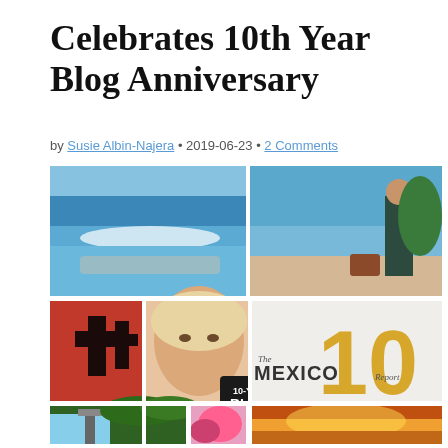Celebrates 10th Year Blog Anniversary
by Susie Albin-Najera • 2019-06-23 • 2 Comments
[Figure (photo): A collage of four images: top-left shows an ocean/pool scene with blue water and waves; top-right shows a person standing on a beach/resort area with blue sky; bottom-left shows a woman with a cross/church wall in red and a close-up portrait; bottom-right shows text reading '10 - The Mexico Report' in gold/yellow and a badge reading '10-YEAR BLOG ANNIVERSARY', plus a sunset image in the bottom corners.]